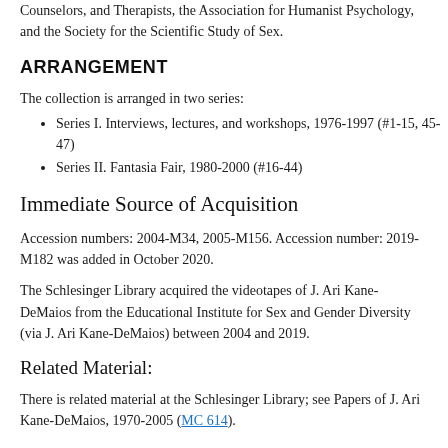Counselors, and Therapists, the Association for Humanist Psychology, and the Society for the Scientific Study of Sex.
ARRANGEMENT
The collection is arranged in two series:
Series I. Interviews, lectures, and workshops, 1976-1997 (#1-15, 45-47)
Series II. Fantasia Fair, 1980-2000 (#16-44)
Immediate Source of Acquisition
Accession numbers: 2004-M34, 2005-M156. Accession number: 2019-M182 was added in October 2020.
The Schlesinger Library acquired the videotapes of J. Ari Kane-DeMaios from the Educational Institute for Sex and Gender Diversity (via J. Ari Kane-DeMaios) between 2004 and 2019.
Related Material:
There is related material at the Schlesinger Library; see Papers of J. Ari Kane-DeMaios, 1970-2005 (MC 614).